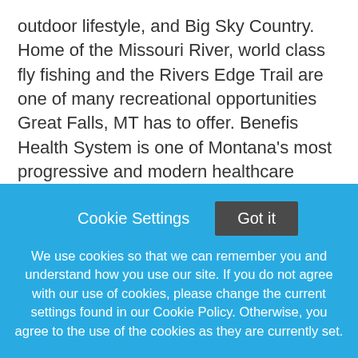outdoor lifestyle, and Big Sky Country. Home of the Missouri River, world class fly fishing and the Rivers Edge Trail are one of many recreational opportunities Great Falls, MT has to offer. Benefis Health System is one of Montana's most progressive and modern healthcare facilities with 500+ beds and over 270 employed medical staff members representing more than 40 specialities. Our state-of-the-art facilities offer cutting-edge technologies, including the da Vinci Xi robot, da Vinci Si robot, O-arm Surgical Imaging System, and the Varian Edg...
Cookie Settings
Got it
We use cookies so that we can remember you and understand how you use our site. If you do not agree with our use of cookies, please change the current settings found in our Cookie Policy. Otherwise, you agree to the use of the cookies as they are currently set.